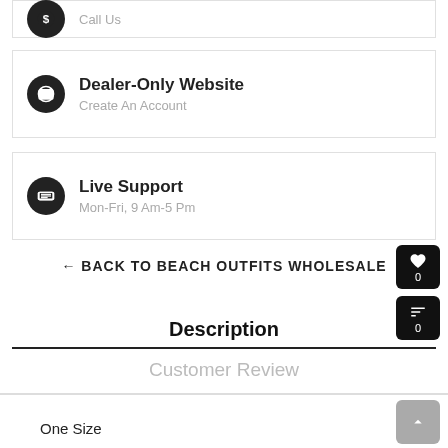Call Us
Dealer-Only Website
Create An Account
Live Support
Mon-Fri, 9 Am-5 Pm
← BACK TO BEACH OUTFITS WHOLESALE
Description
Customer Review
One Size